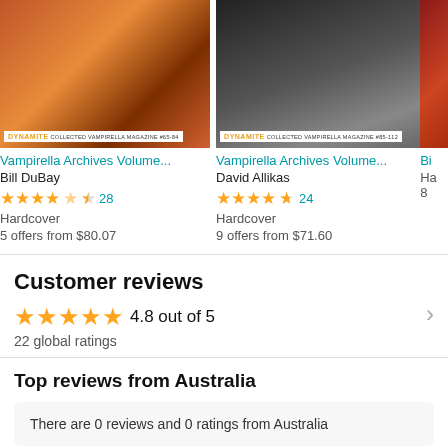[Figure (screenshot): Product card for Vampirella Archives Volume... by Bill DuBay, 4.5 stars, 28 reviews, Hardcover, 5 offers from $80.07]
[Figure (screenshot): Product card for Vampirella Archives Volume... by David Allikas, 4.5 stars, 24 reviews, Hardcover, 9 offers from $71.60]
[Figure (screenshot): Partial product card (Bi...), Hardcover, 8 offers]
Customer reviews
4.8 out of 5
22 global ratings
Top reviews from Australia
There are 0 reviews and 0 ratings from Australia